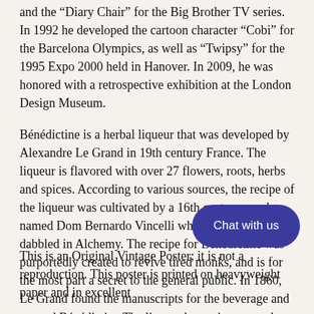and the "Diary Chair" for the Big Brother TV series. In 1992 he developed the cartoon character "Cobi" for the Barcelona Olympics, as well as "Twipsy" for the 1995 Expo 2000 held in Hanover. In 2009, he was honored with a retrospective exhibition at the London Design Museum.
Bénédictine is a herbal liqueur that was developed by Alexandre Le Grand in 19th century France. The liqueur is flavored with over 27 flowers, roots, herbs and spices. According to various sources, the recipe of the liqueur was cultivated by a 16th century monk named Dom Bernardo Vincelli who was said to have dabbled in Alchemy. The recipe for Bénédictine was purportedly created to revive tired monks, and is for the most part a secret to the general public. In 1860, Le Grand found the manuscripts for the beverage and created Bénédictine.The liqueur began import to the United States in 1888 where it still remains a popular brand. In 1999, Benedictine was bought by Bacardi for 1...
[Figure (other): Chat with us button overlay — dark blue rounded pill button with white text]
This is an Original Vintage Poster; it is not a reproduction. This poster is printed on heavyweight paper and in excellent...